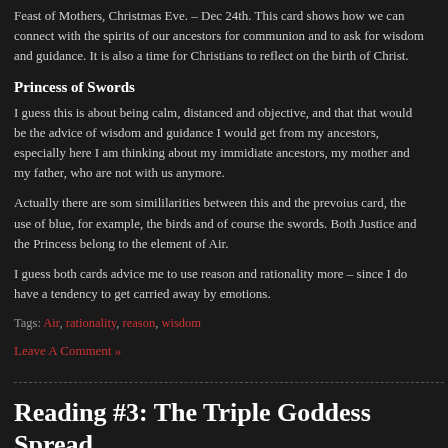Feast of Mothers, Christmas Eve. – Dec 24th. This card shows how we can connect with the spirits of our ancestors for communion and to ask for wisdom and guidance. It is also a time for Christians to reflect on the birth of Christ.
Princess of Swords
I guess this is about being calm, distanced and objective, and that that would be the advice of wisdom and guidance I would get from my ancestors, especially here I am thinking about my immidiate ancestors, my mother and my father, who are not with us anymore.
Actually there are som simililarities between this and the prevoius card, the use of blue, for example, the birds and of course the swords. Both Justice and the Princess belong to the element of Air.
I guess both cards advice me to use reason and rationality more – since I do have a tendency to get carried away by emotions.
Tags: Air, rationality, reason, wisdom
Leave A Comment »
Reading #3: The Triple Goddess Spread
Posted in Alchemical Tarot, Journal, Meanings, Spreads on January 19th, 2009 by K Gazel